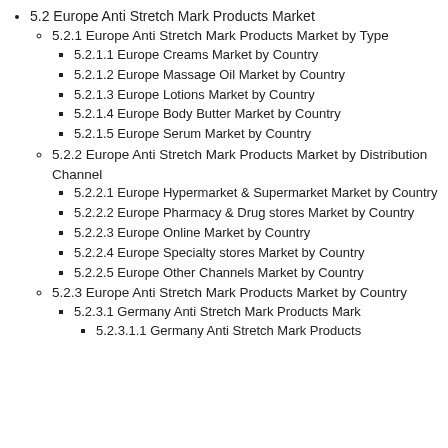5.2 Europe Anti Stretch Mark Products Market
5.2.1 Europe Anti Stretch Mark Products Market by Type
5.2.1.1 Europe Creams Market by Country
5.2.1.2 Europe Massage Oil Market by Country
5.2.1.3 Europe Lotions Market by Country
5.2.1.4 Europe Body Butter Market by Country
5.2.1.5 Europe Serum Market by Country
5.2.2 Europe Anti Stretch Mark Products Market by Distribution Channel
5.2.2.1 Europe Hypermarket & Supermarket Market by Country
5.2.2.2 Europe Pharmacy & Drug stores Market by Country
5.2.2.3 Europe Online Market by Country
5.2.2.4 Europe Specialty stores Market by Country
5.2.2.5 Europe Other Channels Market by Country
5.2.3 Europe Anti Stretch Mark Products Market by Country
5.2.3.1 Germany Anti Stretch Mark Products Market
5.2.3.1.1 Germany Anti Stretch Mark Products